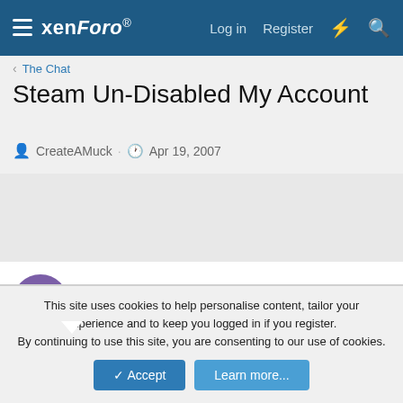xenForo  Log in  Register
< The Chat
Steam Un-Disabled My Account
CreateAMuck · Apr 19, 2007
CreateAMuck
Full Member
Apr 19, 2007  #1
This site uses cookies to help personalise content, tailor your experience and to keep you logged in if you register.
By continuing to use this site, you are consenting to our use of cookies.
Accept  Learn more...